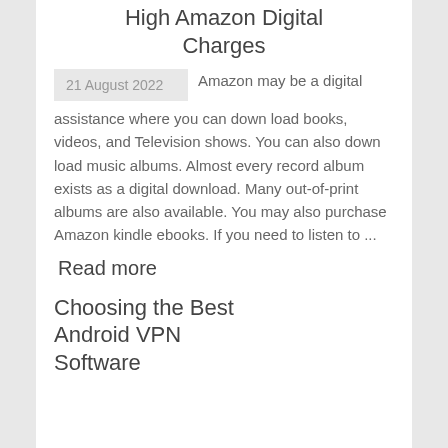High Amazon Digital Charges
21 August 2022  Amazon may be a digital assistance where you can down load books, videos, and Television shows. You can also down load music albums. Almost every record album exists as a digital download. Many out-of-print albums are also available. You may also purchase Amazon kindle ebooks. If you need to listen to ...
Read more
Choosing the Best Android VPN Software